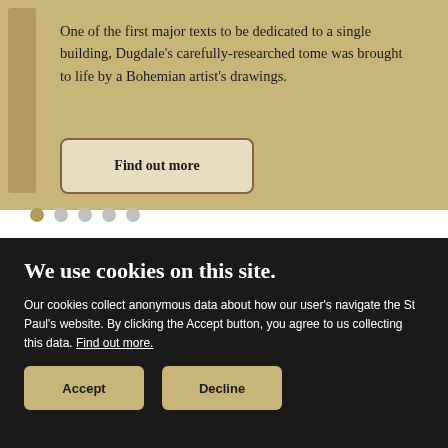One of the first major texts to be dedicated to a single building, Dugdale's carefully-researched tome was brought to life by a Bohemian artist's drawings.
[Figure (other): Navigation dots: 5 circular dots, first one gold/active, rest light grey]
We use cookies on this site.
Our cookies collect anonymous data about how our user's navigate the St Paul's website. By clicking the Accept button, you agree to us collecting this data. Find out more.